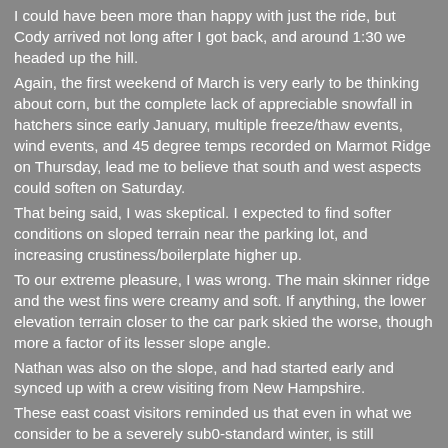I could have been more than happy with just the ride, but Cody arrived not long after I got back, and around 1:30 we headed up the hill.
Again, the first weekend of March is very early to be thinking about corn, but the complete lack of appreciable snowfall in hatchers since early January, multiple freeze/thaw events, wind events, and 45 degree temps recorded on Marmot Ridge on Thursday, lead me to believe that south and west aspects could soften on Saturday.
That being said, I was skeptical. I expected to find softer conditions on sloped terrain near the parking lot, and increasing crustiness/boilerplate higher up.
To our extreme pleasure, I was wrong. The main skinner ridge and the west fins were creamy and soft. If anything, the lower elevation terrain closer to the car park skied the worse, though more a factor of its lesser slope angle.
Nathan was also on the slope, and had started early and synced up with a crew visiting from New Hampshire.
These east coast visitors reminded us that even in what we consider to be a severely sub0-standard winter, is still comparable to what the vast majority of the Lower 48 would refer to as “epic.”